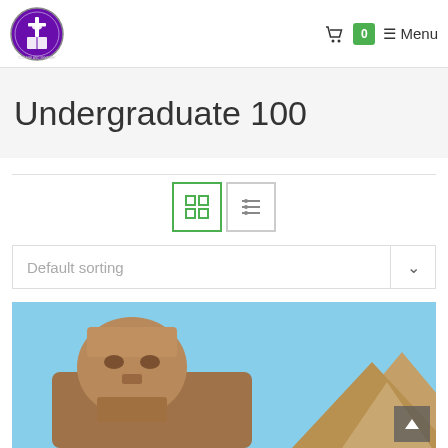[Figure (logo): Circular college/seminary logo with purple background, cross, dove, and open book]
☰ Menu  🛒 0
Undergraduate 100
[Figure (screenshot): Grid and list view toggle buttons (grid view active in green, list view in grey)]
Default sorting
[Figure (photo): Photo of the Great Sphinx of Giza with pyramids in the background against a blue sky]